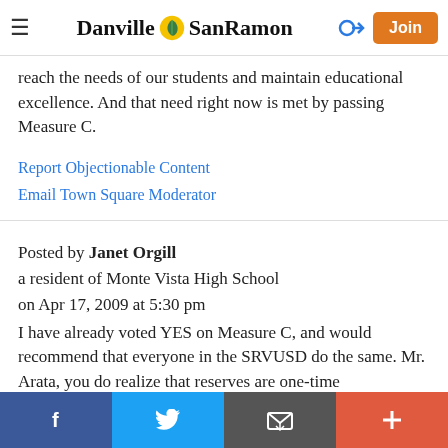Danville SanRamon — navigation header with Join button
reach the needs of our students and maintain educational excellence. And that need right now is met by passing Measure C.
Report Objectionable Content
Email Town Square Moderator
Posted by Janet Orgill
a resident of Monte Vista High School
on Apr 17, 2009 at 5:30 pm
I have already voted YES on Measure C, and would recommend that everyone in the SRVUSD do the same. Mr. Arata, you do realize that reserves are one-time
Social sharing bar: Facebook, Twitter, Email, Plus